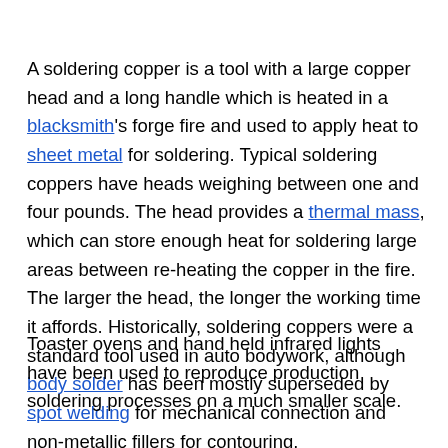A soldering copper is a tool with a large copper head and a long handle which is heated in a blacksmith's forge fire and used to apply heat to sheet metal for soldering. Typical soldering coppers have heads weighing between one and four pounds. The head provides a thermal mass, which can store enough heat for soldering large areas between re-heating the copper in the fire. The larger the head, the longer the working time it affords. Historically, soldering coppers were a standard tool used in auto bodywork, although body solder has been mostly superseded by spot welding for mechanical connection and non-metallic fillers for contouring.
Toaster ovens and hand held infrared lights have been used to reproduce production soldering processes on a much smaller scale.